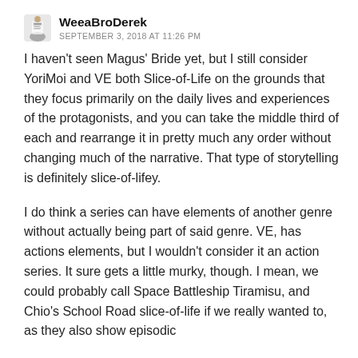WeeaBroDerek — SEPTEMBER 3, 2018 AT 11:26 PM
I haven't seen Magus' Bride yet, but I still consider YoriMoi and VE both Slice-of-Life on the grounds that they focus primarily on the daily lives and experiences of the protagonists, and you can take the middle third of each and rearrange it in pretty much any order without changing much of the narrative. That type of storytelling is definitely slice-of-lifey.
I do think a series can have elements of another genre without actually being part of said genre. VE, has actions elements, but I wouldn't consider it an action series. It sure gets a little murky, though. I mean, we could probably call Space Battleship Tiramisu, and Chio's School Road slice-of-life if we really wanted to, as they also show episodic